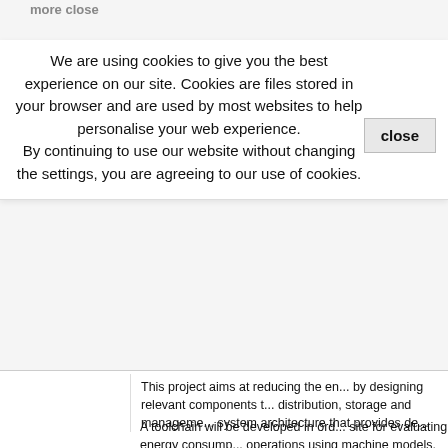We are using cookies to give you the best experience on our site. Cookies are files stored in your browser and are used by most websites to help personalise your web experience.
By continuing to use our website without changing the settings, you are agreeing to our use of cookies.
close
This project aims at reducing the en... by designing relevant components t... distribution, storage and manageme... system architecture that provides de... while data is generated and transmi... infrastructure. This project will consi... experiments in order to verify the re... development. The communication in... reliable wireless networks, while no... techniques will be applied to proces... learning techniques will be applied t... system productivity, while considerin...
A toolchain will be developed in ord... site for evaluating energy consump... operations using machine models, e... also defines the grid architecture fo...